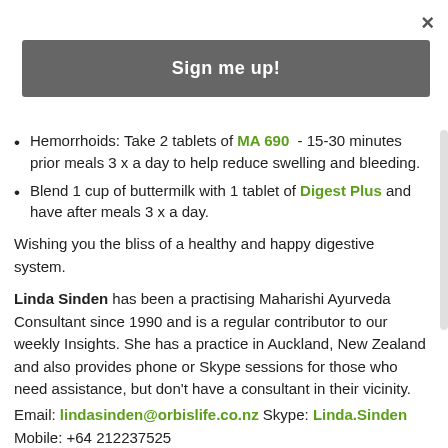×
Sign me up!
Hemorrhoids: Take 2 tablets of MA 690 - 15-30 minutes prior meals 3 x a day to help reduce swelling and bleeding.
Blend 1 cup of buttermilk with 1 tablet of Digest Plus and have after meals 3 x a day.
Wishing you the bliss of a healthy and happy digestive system.
Linda Sinden has been a practising Maharishi Ayurveda Consultant since 1990 and is a regular contributor to our weekly Insights. She has a practice in Auckland, New Zealand and also provides phone or Skype sessions for those who need assistance, but don't have a consultant in their vicinity.
Email: lindasinden@orbislife.co.nz Skype: Linda.Sinden Mobile: +64 212237525